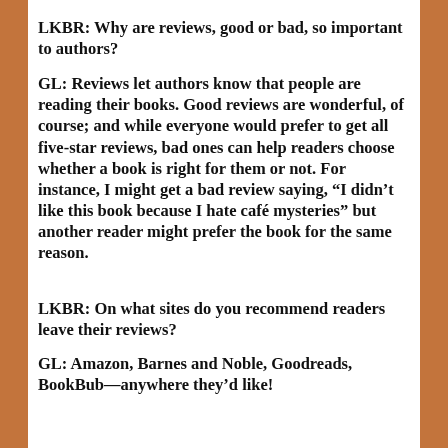LKBR: Why are reviews, good or bad, so important to authors?
GL: Reviews let authors know that people are reading their books. Good reviews are wonderful, of course; and while everyone would prefer to get all five-star reviews, bad ones can help readers choose whether a book is right for them or not. For instance, I might get a bad review saying, “I didn’t like this book because I hate café mysteries” but another reader might prefer the book for the same reason.
LKBR: On what sites do you recommend readers leave their reviews?
GL: Amazon, Barnes and Noble, Goodreads, BookBub—anywhere they’d like!